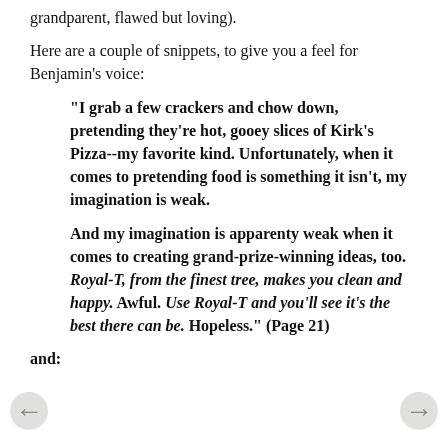grandparent, flawed but loving).
Here are a couple of snippets, to give you a feel for Benjamin's voice:
"I grab a few crackers and chow down, pretending they're hot, gooey slices of Kirk's Pizza--my favorite kind. Unfortunately, when it comes to pretending food is something it isn't, my imagination is weak.

And my imagination is apparenty weak when it comes to creating grand-prize-winning ideas, too. Royal-T, from the finest tree, makes you clean and happy. Awful. Use Royal-T and you'll see it's the best there can be. Hopeless." (Page 21)
and:
[Figure (other): Left navigation arrow button]
[Figure (other): Right navigation arrow button]